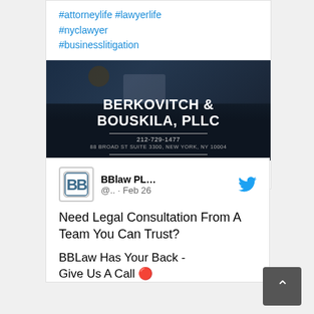#attorneylife #lawyerlife #nyclawyer #businesslitigation
[Figure (logo): Berkovitch & Bouskila, PLLC law firm branded image with dark background showing two people in business attire shaking hands, firm name in white bold text, phone number 212-729-1477, address 88 Broad St Suite 3300, New York, NY 10004]
[Figure (other): Comment and like (heart) icons for social media interaction]
BBlaw PL... @.. · Feb 26
Need Legal Consultation From A Team You Can Trust?
BBLaw Has Your Back - Give Us A Call